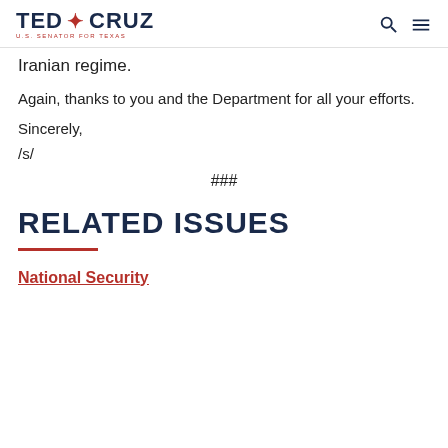TED CRUZ U.S. SENATOR FOR TEXAS
Iranian regime.
Again, thanks to you and the Department for all your efforts.
Sincerely,
/s/
###
RELATED ISSUES
National Security